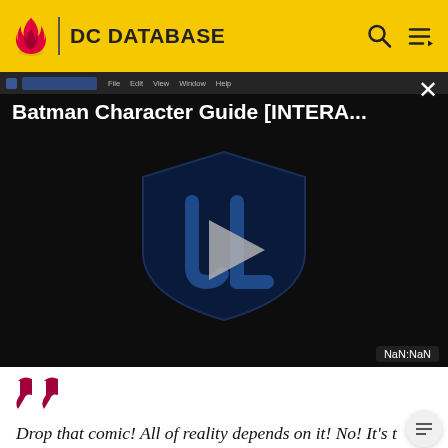DC DATABASE
[Figure (screenshot): Video player showing Batman Character Guide [INTERA...] with Justice League logo and play button, displaying NaN:NaN timestamp]
Drop that comic! All of reality depends on it! No! It's too late! Congratulations, Harley Quinn – YOU DESTROYED DC CONTINUITY!